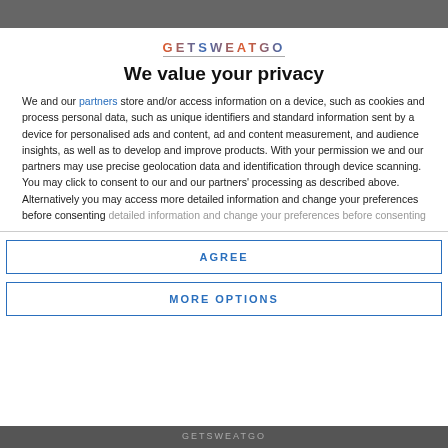[Figure (photo): Partial photo visible at top of page behind modal overlay]
GETSWEATGO
We value your privacy
We and our partners store and/or access information on a device, such as cookies and process personal data, such as unique identifiers and standard information sent by a device for personalised ads and content, ad and content measurement, and audience insights, as well as to develop and improve products. With your permission we and our partners may use precise geolocation data and identification through device scanning. You may click to consent to our and our partners' processing as described above. Alternatively you may access more detailed information and change your preferences before consenting
AGREE
MORE OPTIONS
[Figure (photo): Partial photo visible at bottom of page behind modal overlay]